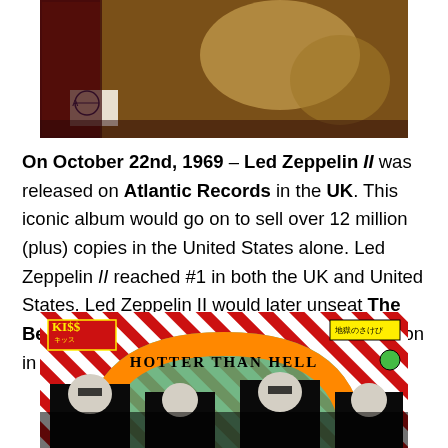[Figure (photo): Top portion of Led Zeppelin II album cover showing dark reddish-brown tones with Atlantic Records logo in lower left and figures in sepia/golden tones]
On October 22nd, 1969 – Led Zeppelin II was released on Atlantic Records in the UK. This iconic album would go on to sell over 12 million (plus) copies in the United States alone. Led Zeppelin II reached #1 in both the UK and United States. Led Zeppelin II would later unseat The Beatles Abbey Road album from the #1 position in the United States, as well.
[Figure (photo): Bottom portion of KISS Hotter Than Hell Japanese album cover showing red and white diagonal stripes background, KISS logo in red/yellow at top left, Japanese text at top right, orange arch with 'HOTTER THAN HELL' text, and band members in KISS makeup at the bottom]